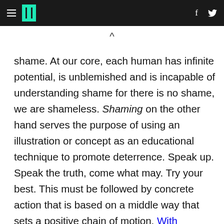HuffPost navigation header with hamburger menu, logo, Facebook and Twitter icons
shame. At our core, each human has infinite potential, is unblemished and is incapable of understanding shame for there is no shame, we are shameless. Shaming on the other hand serves the purpose of using an illustration or concept as an educational technique to promote deterrence. Speak up. Speak the truth, come what may. Try your best. This must be followed by concrete action that is based on a middle way that sets a positive chain of motion. With increasing numbers of judges, law enforcement and the public at large finding innovative ways to